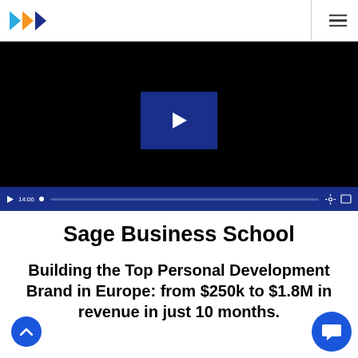Sage Business School — site header with logo and hamburger menu
[Figure (screenshot): Embedded video player with black background, blue play button overlay in center, video duration 14:06 shown in controls bar at bottom with blue progress bar]
Sage Business School
Building the Top Personal Development Brand in Europe: from $250k to $1.8M in revenue in just 10 months.